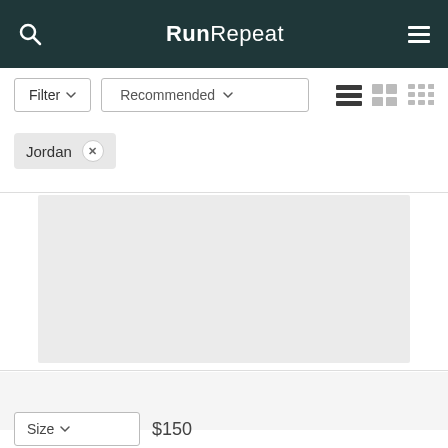RunRepeat — navigation bar with search and menu icons
Filter ▾   Recommended ▾
Jordan ✕
[Figure (screenshot): Grey placeholder product card image area]
[Figure (screenshot): Grey placeholder product card image area (second)]
Size ▾   $150